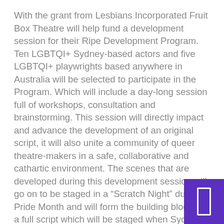With the grant from Lesbians Incorporated Fruit Box Theatre will help fund a development session for their Ripe Development Program. Ten LGBTQI+ Sydney-based actors and five LGBTQI+ playwrights based anywhere in Australia will be selected to participate in the Program. Which will include a day-long session full of workshops, consultation and brainstorming. This session will directly impact and advance the development of an original script, it will also unite a community of queer theatre-makers in a safe, collaborative and cathartic environment. The scenes that are developed during this development session will go on to be staged in a “Scratch Night” during Pride Month and will form the building blocks of a full script which will be staged when Sydney hosts World Pride in 2023.

Throughout 2022, writers will work closely with the Artistic Director and engage in
[Figure (other): Purple rectangle box with a white vertical rectangle outline inside, positioned at bottom-right corner]